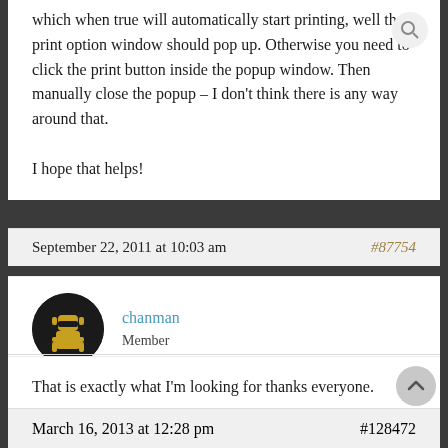which when true will automatically start printing, well the print option window should pop up. Otherwise you need to click the print button inside the popup window. Then manually close the popup – I don't think there is any way around that.

I hope that helps!
September 22, 2011 at 10:03 am
#87754
chanman
Member
That is exactly what I'm looking for thanks everyone.
March 16, 2013 at 12:28 pm
#128472